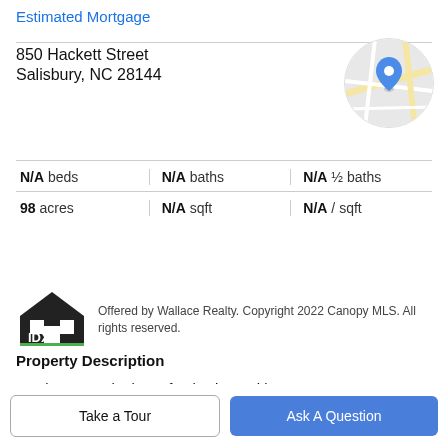Estimated Mortgage
850 Hackett Street
Salisbury, NC 28144
[Figure (map): Circular map thumbnail showing street map with blue location pin marker]
N/A beds | N/A baths | N/A ½ baths
98 acres | N/A sqft | N/A / sqft
[Figure (logo): IDX logo with house icon]
Offered by Wallace Realty. Copyright 2022 Canopy MLS. All rights reserved.
Property Description
Lambe West site is perfectly situated between Hwy 29 & I-85 in an economically flourishing corridor that stretches
from Old Beatty Ford Rd to the Yadkin River. Municipalities
Take a Tour
Ask A Question